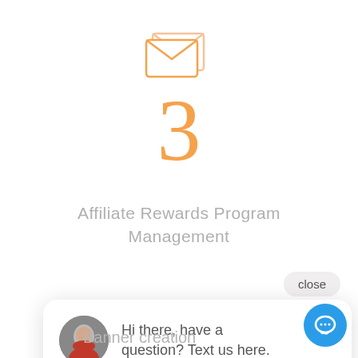[Figure (illustration): Two overlapping envelope icons in light orange/peach outline style, centered at top of page]
3
Affiliate Rewards Program Management
[Figure (screenshot): A chat popup widget showing a close button and a chat bubble with an avatar of a woman and the text 'Hi there, have a question? Text us here.' with a blue circular chat button in the bottom right]
9
Banner creation